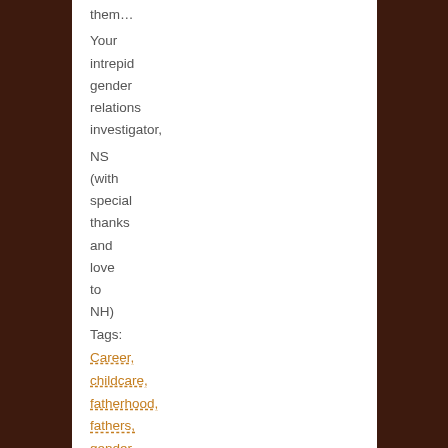them…

Your intrepid gender relations investigator,

NS
(with special thanks and love to NH)
Tags: Career, childcare, fatherhood, fathers, gender stereotypes, work